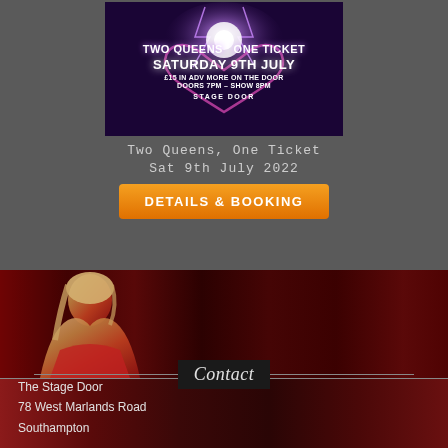[Figure (illustration): Event poster for 'Two Queens, One Ticket' showing purple/dark background with lightning bolt, neon heart outline, text: SATURDAY 9TH JULY, £15 IN ADV MORE ON THE DOOR, DOORS 7PM - SHOW 8PM, STAGE DOOR]
Two Queens, One Ticket
Sat 9th July 2022
DETAILS & BOOKING
[Figure (photo): Background photo of a performer/entertainer in red costume against red curtain backdrop with dark overlay]
Contact
The Stage Door
78 West Marlands Road
Southampton